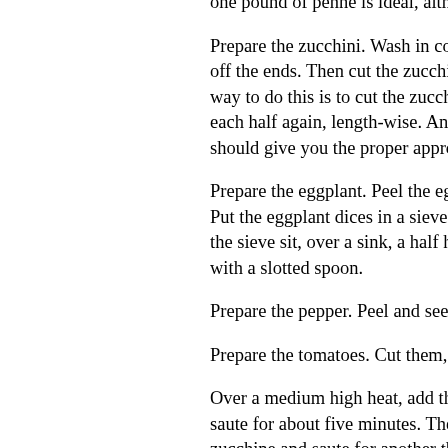one pound of penne is ideal, althou...
Prepare the zucchini. Wash in cold water fo... off the ends. Then cut the zucchini into app... way to do this is to cut the zucchini in half,... each half again, length-wise. And then cut ... should give you the proper approximate sh...
Prepare the eggplant. Peel the eggplant. C... Put the eggplant dices in a sieve and sprin... the sieve sit, over a sink, a half hour. Toss ... with a slotted spoon.
Prepare the pepper. Peel and seed it and t...
Prepare the tomatoes. Cut them, unpeeled...
Over a medium high heat, add the olive oil.... saute for about five minutes. The cubes sh... zucchine and saute for another three minut...
Add the garlic, onion, a teaspoon of salt an... the pepper flakes and saute for another tw... soften. Then add the bell pepper cubes ane...
Add the tomatoes and the basil and bring t... often, until the tomatoes start to break dow... five minutes.
Meanwhile bring 4-5 quarts of water to a ra...